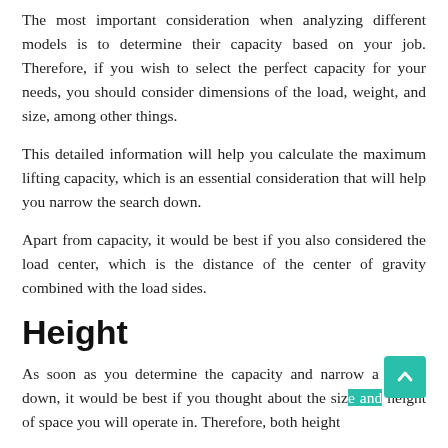The most important consideration when analyzing different models is to determine their capacity based on your job. Therefore, if you wish to select the perfect capacity for your needs, you should consider dimensions of the load, weight, and size, among other things.
This detailed information will help you calculate the maximum lifting capacity, which is an essential consideration that will help you narrow the search down.
Apart from capacity, it would be best if you also considered the load center, which is the distance of the center of gravity combined with the load sides.
Height
As soon as you determine the capacity and narrow a search down, it would be best if you thought about the size and height of space you will operate in. Therefore, both height